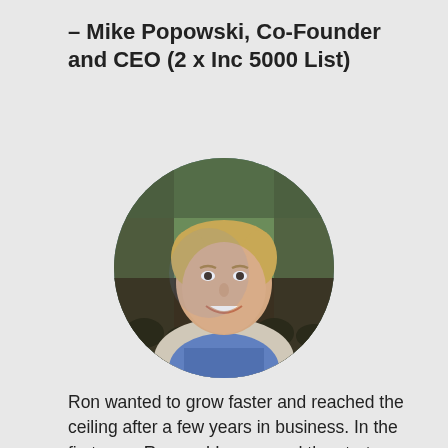– Mike Popowski, Co-Founder and CEO (2 x Inc 5000 List)
[Figure (photo): Circular headshot photo of a smiling young man in a conference or event setting with crowd in background. He is wearing a blue checkered shirt.]
Ron wanted to grow faster and reached the ceiling after a few years in business. In the first year, Ron and I revamped the strategy to activate more growth. He had more than 400% growth that year. After a merger, we worked on